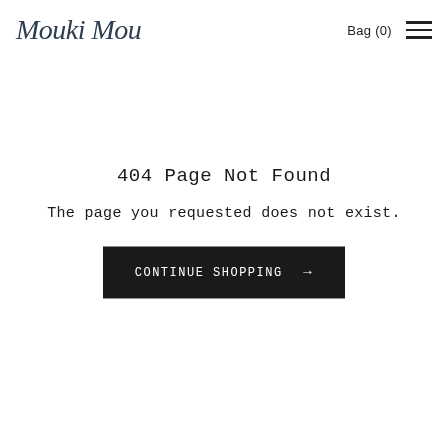Mouki Mou   Bag (0)
404 Page Not Found
The page you requested does not exist.
CONTINUE SHOPPING →